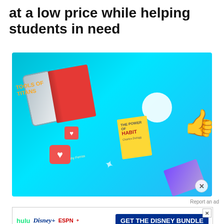at a low price while helping students in need
[Figure (illustration): Colorful promotional illustration on a cyan/blue gradient background showing floating books including 'Tools of Titans' (red cover) and 'The Power of Habit' (yellow cover), a smartphone, heart/like social media icons, a thumbs up hand, and a purple book in the lower right. A circular close button (X) appears at bottom right of the image.]
Report an ad
[Figure (screenshot): Disney Bundle advertisement banner showing 'hulu Disney+ ESPN+ GET THE DISNEY BUNDLE' with fine print: 'Incl. Hulu (ad-supported) or Hulu (No Ads). Access content from each service separately. ©2021 Disney and its related entities']